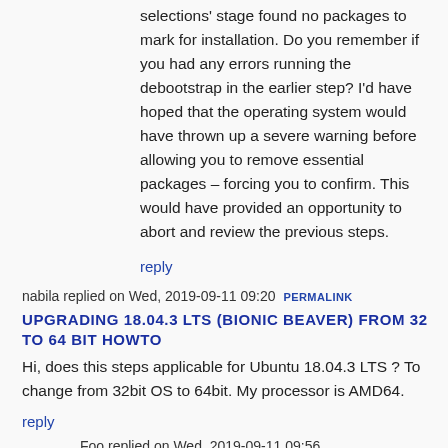selections' stage found no packages to mark for installation. Do you remember if you had any errors running the debootstrap in the earlier step? I'd have hoped that the operating system would have thrown up a severe warning before allowing you to remove essential packages – forcing you to confirm. This would have provided an opportunity to abort and review the previous steps.
reply
nabila replied on Wed, 2019-09-11 09:20 PERMALINK
UPGRADING 18.04.3 LTS (BIONIC BEAVER) FROM 32 TO 64 BIT HOWTO
Hi, does this steps applicable for Ubuntu 18.04.3 LTS ? To change from 32bit OS to 64bit. My processor is AMD64.
reply
Foo replied on Wed, 2019-09-11 09:56